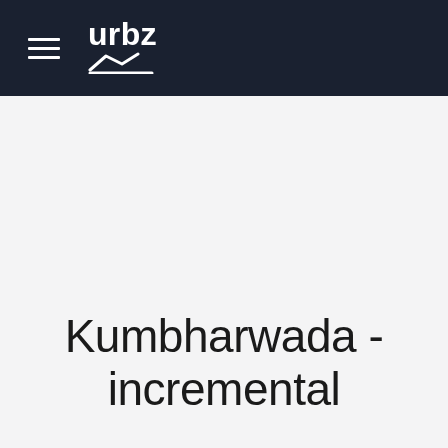urbz
Kumbharwada - incremental